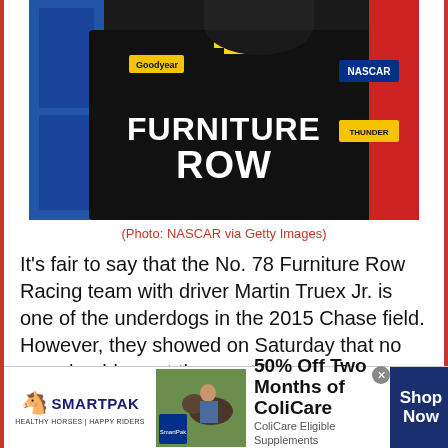[Figure (photo): NASCAR driver Martin Truex Jr. wearing a black Furniture Row Racing suit with sponsors including Goodyear, Chevrolet, and NASCAR logos]
(Photo: NASCAR via Getty Images)
It's fair to say that the No. 78 Furniture Row Racing team with driver Martin Truex Jr. is one of the underdogs in the 2015 Chase field. However, they showed on Saturday that no one should count them out just yet. Truex was fastest in the first practice on Saturday afternoon and was on top
[Figure (infographic): SmartPak advertisement banner - 50% Off Two Months of ColiCare, ColiCare Eligible Supplements, CODE: COLICARE10, Shop Now button]